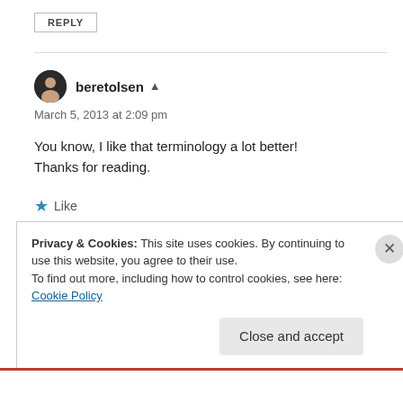REPLY
beretolsen
March 5, 2013 at 2:09 pm
You know, I like that terminology a lot better! Thanks for reading.
Like
REPLY
Privacy & Cookies: This site uses cookies. By continuing to use this website, you agree to their use.
To find out more, including how to control cookies, see here: Cookie Policy
Close and accept